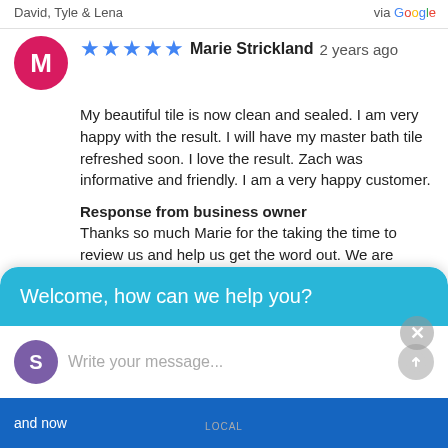David, Tyle & Lena
via Google
Marie Strickland 2 years ago
My beautiful tile is now clean and sealed. I am very happy with the result. I will have my master bath tile refreshed soon. I love the result. Zach was informative and friendly. I am a very happy customer.
Response from business owner
Thanks so much Marie for the taking the time to review us and help us get the word out. We are happy when our customers are happy! Steve, Jon, Zach, Carter, David, Tyler & Lena
Welcome, how can we help you?
Write your message...
and now